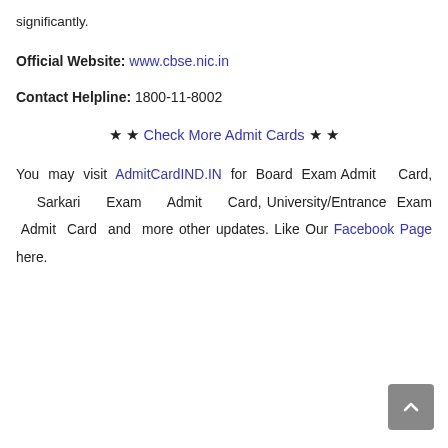significantly.
Official Website: www.cbse.nic.in
Contact Helpline: 1800-11-8002
★ ★ Check More Admit Cards ★ ★
You may visit AdmitCardIND.IN for Board Exam Admit Card, Sarkari Exam Admit Card, University/Entrance Exam Admit Card and more other updates. Like Our Facebook Page here.